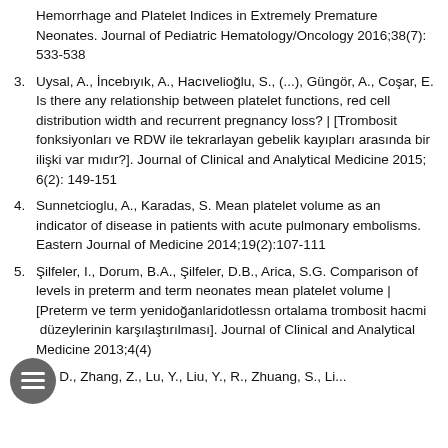Hemorrhage and Platelet Indices in Extremely Premature Neonates. Journal of Pediatric Hematology/Oncology 2016;38(7): 533-538
3. Uysal, A., İncebıyık, A., Hacıvelioğlu, S., (...), Güngör, A., Coşar, E. Is there any relationship between platelet functions, red cell distribution width and recurrent pregnancy loss? | [Trombosit fonksiyonları ve RDW ile tekrarlayan gebelik kayıpları arasında bir ilişki var mıdır?]. Journal of Clinical and Analytical Medicine 2015; 6(2): 149-151
4. Sunnetcioglu, A., Karadas, S. Mean platelet volume as an indicator of disease in patients with acute pulmonary embolisms. Eastern Journal of Medicine 2014;19(2):107-111
5. Şilfeler, I., Dorum, B.A., Şilfeler, D.B., Arica, S.G. Comparison of levels in preterm and term neonates mean platelet volume | [Preterm ve term yenidoğanlaridotlessn ortalama trombosit hacmi düzeylerinin karşılaştırılması]. Journal of Clinical and Analytical Medicine 2013;4(4)
6. Yu, D., Zhang, Z., Lu, Y., Liu, Y., R., Zhuang, S., Li...